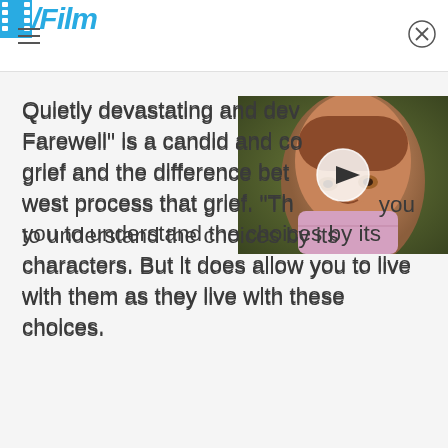/Film
Quietly devastating and dev... Farewell" is a candid and co... grief and the difference bet... west process that grief. "Th... you to understand the choices by its characters. But it does allow you to live with them as they live with these choices.
[Figure (photo): A young girl with reddish-brown hair, looking downward thoughtfully, with a play button overlay indicating a video thumbnail.]